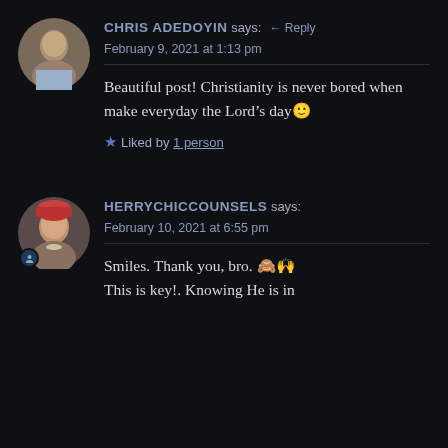CHRIS ADEDOYIN says: ← Reply
February 9, 2021 at 1:13 pm
Beautiful post! Christianity is never bored when make everyday the Lord's day 🙂
★ Liked by 1 person
HERRYCHICCOUNSELS says:
February 10, 2021 at 6:55 pm
Smiles. Thank you, bro. 🙈🙌
This is key!. Knowing He is in